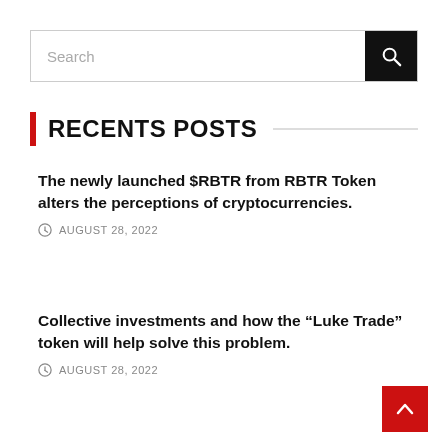Search
RECENTS POSTS
The newly launched $RBTR from RBTR Token alters the perceptions of cryptocurrencies.
AUGUST 28, 2022
Collective investments and how the “Luke Trade” token will help solve this problem.
AUGUST 28, 2022